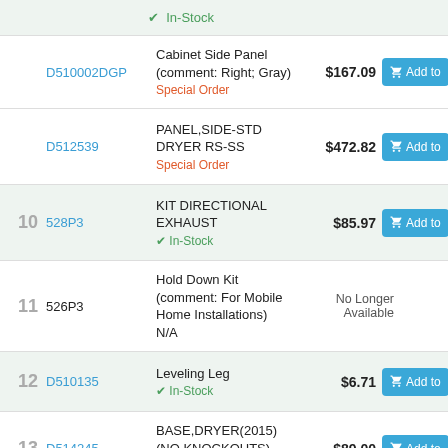| # | Part | Description | Price | Action |
| --- | --- | --- | --- | --- |
|  |  | In-Stock |  | Add to |
|  | D510002DGP | Cabinet Side Panel (comment: Right; Gray)
Special Order | $167.09 | Add to |
|  | D512539 | PANEL,SIDE-STD DRYER RS-SS
Special Order | $472.82 | Add to |
| 10 | 528P3 | KIT DIRECTIONAL EXHAUST
In-Stock | $85.97 | Add to |
| 11 | 526P3 | Hold Down Kit (comment: For Mobile Home Installations)
N/A | No Longer Available |  |
| 12 | D510135 | Leveling Leg
In-Stock | $6.71 | Add to |
| 13 | D514245 | BASE,DRYER(2015)(NO KNOCKOUTS)
Special Order | $89.00 | Add to |